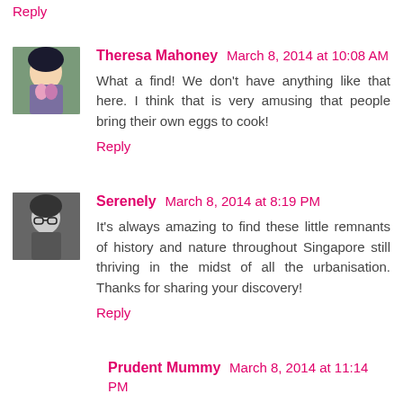hey you could open up a stall there and sell eggs again.
Reply
Theresa Mahoney March 8, 2014 at 10:08 AM
What a find! We don't have anything like that here. I think that is very amusing that people bring their own eggs to cook!
Reply
Serenely March 8, 2014 at 8:19 PM
It's always amazing to find these little remnants of history and nature throughout Singapore still thriving in the midst of all the urbanisation. Thanks for sharing your discovery!
Reply
Prudent Mummy March 8, 2014 at 11:14 PM
Wow this is so cool. Didn't know such a place existed in SG!